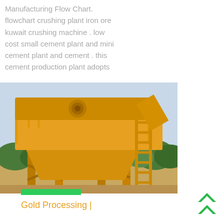Manufacturing Flow Chart. flowchart crushing plant iron ore kuwait crushing machine . low cost small cement plant and mini cement plant and cement . this cement production plant adopts
[Figure (photo): Yellow industrial crushing/screening machine with metal frame, hopper, ladder, and conveyor, set outdoors on dirt ground with trees in background.]
Gold Processing |